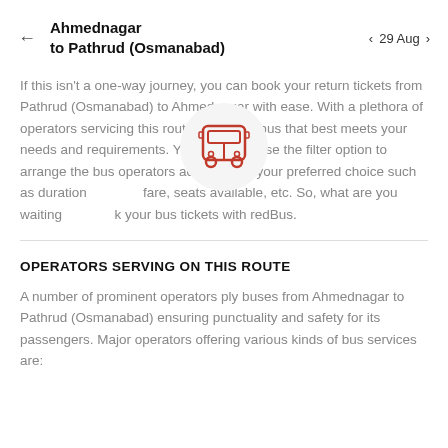Ahmednagar to Pathrud (Osmanabad) ← 29 Aug
If this isn't a one-way journey, you can book your return tickets from Pathrud (Osmanabad) to Ahmednagar with ease. With a plethora of operators servicing this route, choose a bus that best meets your needs and requirements. You can even use the filter option to arrange the bus operators according to your preferred choice such as duration or fare, seats available, etc. So, what are you waiting for? Book your bus tickets with redBus.
[Figure (illustration): Red bus icon in a circular light gray background, centered over the text block]
OPERATORS SERVING ON THIS ROUTE
A number of prominent operators ply buses from Ahmednagar to Pathrud (Osmanabad) ensuring punctuality and safety for its passengers. Major operators offering various kinds of bus services are: